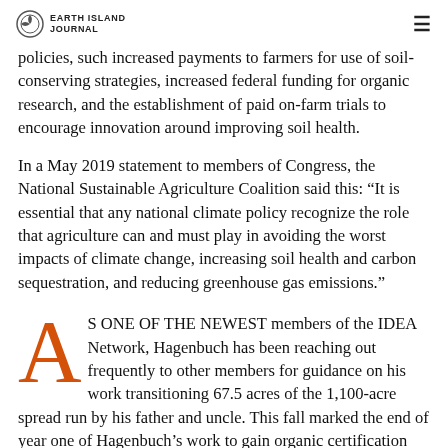Earth Island Journal
policies, such increased payments to farmers for use of soil-conserving strategies, increased federal funding for organic research, and the establishment of paid on-farm trials to encourage innovation around improving soil health.
In a May 2019 statement to members of Congress, the National Sustainable Agriculture Coalition said this: “It is essential that any national climate policy recognize the role that agriculture can and must play in avoiding the worst impacts of climate change, increasing soil health and carbon sequestration, and reducing greenhouse gas emissions.”
AS ONE OF THE NEWEST members of the IDEA Network, Hagenbuch has been reaching out frequently to other members for guidance on his work transitioning 67.5 acres of the 1,100-acre spread run by his father and uncle. This fall marked the end of year one of Hagenbuch’s work to gain organic certification for this acreage, a process that will take until